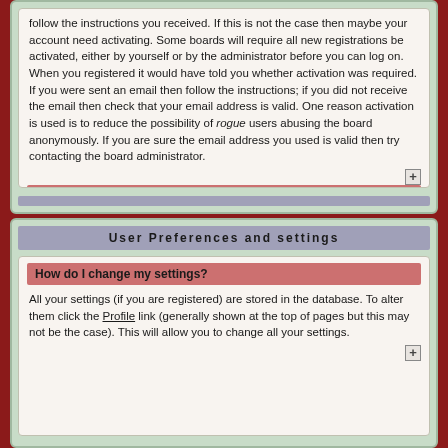follow the instructions you received. If this is not the case then maybe your account need activating. Some boards will require all new registrations be activated, either by yourself or by the administrator before you can log on. When you registered it would have told you whether activation was required. If you were sent an email then follow the instructions; if you did not receive the email then check that your email address is valid. One reason activation is used is to reduce the possibility of rogue users abusing the board anonymously. If you are sure the email address you used is valid then try contacting the board administrator.
I registered in the past but cannot log in anymore!
The most likely reasons for this are: you entered an incorrect username or password (check the email you were sent when you first registered) or the administrator has deleted your account for some reason. If it is the latter case then perhaps you did not post anything? It is usual for boards to periodically remove users who have not posted anything so as to reduce the size of the database. Try registering again and get involved in discussions.
User Preferences and settings
How do I change my settings?
All your settings (if you are registered) are stored in the database. To alter them click the Profile link (generally shown at the top of pages but this may not be the case). This will allow you to change all your settings.